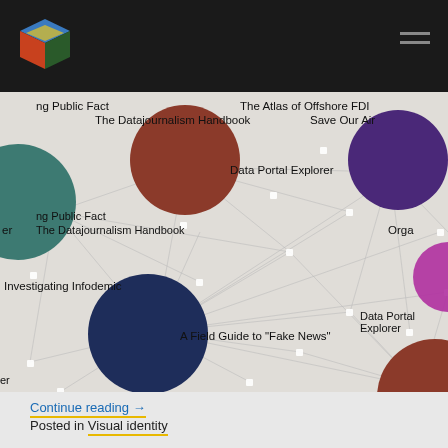[Figure (logo): Public Data Lab cube logo in dark navigation bar]
[Figure (network-graph): Network graph showing connected nodes of various sizes and colors (teal, dark red/brown, purple, dark navy, magenta) representing data journalism and public data projects including: 'ng Public Fact', 'The Datajournalism Handbook', 'The Atlas of Offshore FDI', 'Save Our Air', 'Data Portal Explorer', 'Orga', 'er', 'Investigating Infodemic', 'A Field Guide to Fake News']
Continue reading →
Posted in Visual identity
New website and blog for the Public Data Lab